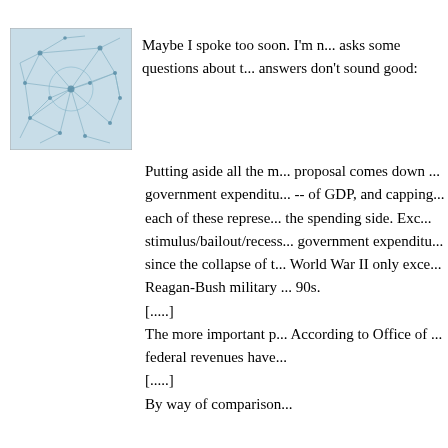[Figure (illustration): Avatar image: abstract blue network/neural pattern on light blue background, square thumbnail]
Maybe I spoke too soon. I'm n... asks some questions about t... answers don't sound good:
Putting aside all the m... proposal comes down ... government expenditu... -- of GDP, and capping... each of these represe... the spending side. Exc... stimulus/bailout/recess... government expenditu... since the collapse of t... World War II only exce... Reagan-Bush military ... 90s.
[.....]
The more important p... According to Office of ... federal revenues have...
[.....]
By way of comparison...